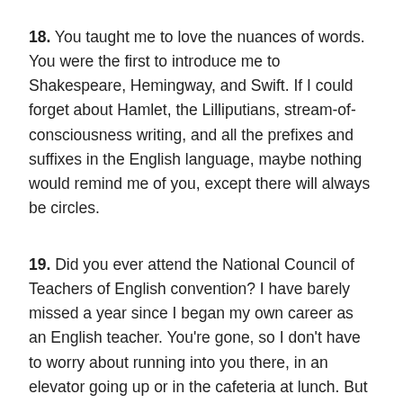18. You taught me to love the nuances of words. You were the first to introduce me to Shakespeare, Hemingway, and Swift. If I could forget about Hamlet, the Lilliputians, stream-of-consciousness writing, and all the prefixes and suffixes in the English language, maybe nothing would remind me of you, except there will always be circles.
19. Did you ever attend the National Council of Teachers of English convention? I have barely missed a year since I began my own career as an English teacher. You're gone, so I don't have to worry about running into you there, in an elevator going up or in the cafeteria at lunch. But I must admit that sometimes I still think I see you places. I see a